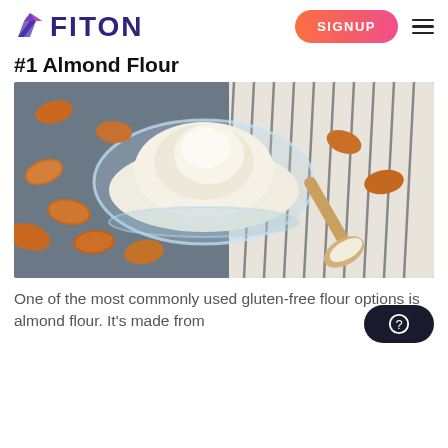FITON
#1 Almond Flour
[Figure (photo): A glass bowl filled with almond flour surrounded by raw almonds on a dark surface, with a wooden spoon of almond flour and a striped cloth in the background.]
One of the most commonly used gluten-free flour options is almond flour. It's made from